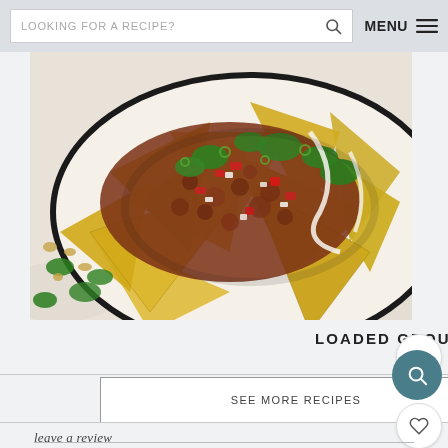LOOKING FOR A RECIPE?  MENU
[Figure (photo): Close-up photo of loaded ground beef nachos on a white plate with black rim, topped with seasoned ground beef, diced tomatoes, white onion, fresh cilantro, sliced green onions, and drizzled with cream sauce on a light marble surface with scattered cilantro leaves and peanuts.]
LOADED GROUND BEEF NACHOS
SEE MORE RECIPES
25
leave a review
COMMENT *